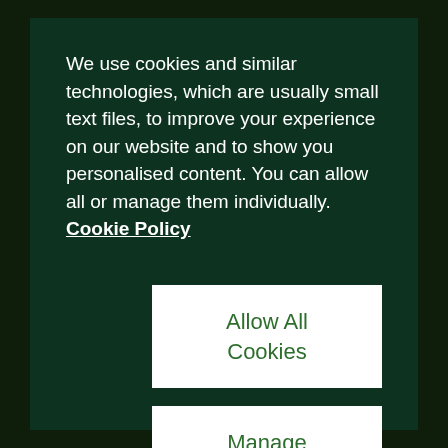We use cookies and similar technologies, which are usually small text files, to improve your experience on our website and to show you personalised content. You can allow all or manage them individually. Cookie Policy
Allow All Cookies
Manage Cookies